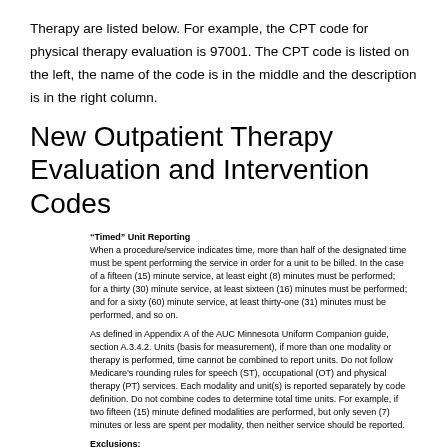Therapy are listed below. For example, the CPT code for physical therapy evaluation is 97001. The CPT code is listed on the left, the name of the code is in the middle and the description is in the right column.
New Outpatient Therapy Evaluation and Intervention Codes
“Timed” Unit Reporting
When a procedure/service indicates time, more than half of the designated time must be spent performing the service in order for a unit to be billed. In the case of a fifteen (15) minute service, at least eight (8) minutes must be performed; for a thirty (30) minute service, at least sixteen (16) minutes must be performed; and for a sixty (60) minute service, at least thirty-one (31) minutes must be performed, and so on.
As defined in Appendix A of the AUC Minnesota Uniform Companion guide, section A.3.4.2. Units (basis for measurement), if more than one modality or therapy is performed, time cannot be combined to report units. Do not follow Medicare’s rounding rules for speech (ST), occupational (OT) and physical therapy (PT) services. Each modality and unit(s) is reported separately by code definition. Do not combine codes to determine total time units. For example, if two fifteen (15) minute defined modalities are performed, but only seven (7) minutes or less are spent per modality, then neither service should be reported.
Exclusions: